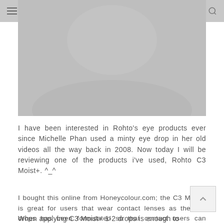MiahCheungX
[Figure (photo): Close-up photo of a person's face/eyes, rendered in greyscale tones]
I have been interested in Rohto's eye products ever since Michelle Phan used a minty eye drop in her old videos all the way back in 2008. Now today I will be reviewing one of the products i've used, Rohto C3 Moist+. ^_^
I bought this online from Honeycolour.com; the C3 Moist+ is great for users that wear contact lenses as the eye drops has been formulated so that contact users can apply it whilst wearing contacts lenses . It does a good job in moisturising the eyes. I use this during lessons, using the computer , revision etc as it relieves tired eyes from wearing contacts for long periods and staring at things for long periods in general.
When applying C3 Moist+ 1-2 drops is enough to